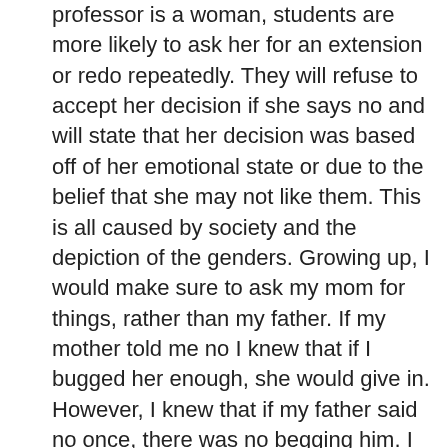professor is a woman, students are more likely to ask her for an extension or redo repeatedly. They will refuse to accept her decision if she says no and will state that her decision was based off of her emotional state or due to the belief that she may not like them. This is all caused by society and the depiction of the genders. Growing up, I would make sure to ask my mom for things, rather than my father. If my mother told me no I knew that if I bugged her enough, she would give in. However, I knew that if my father said no once, there was no begging him. I have seen this in the way I create relationships with my professors today. With either gender, I have asked for favors to bring up my grade, however, how I handle the situation is different. With my male professors, I have cried when I